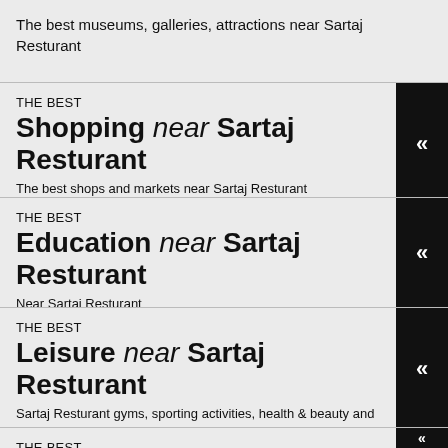The best museums, galleries, attractions near Sartaj Resturant
THE BEST
Shopping near Sartaj Resturant
The best shops and markets near Sartaj Resturant
THE BEST
Education near Sartaj Resturant
Near Sartaj Resturant
THE BEST
Leisure near Sartaj Resturant
Sartaj Resturant gyms, sporting activities, health & beauty and fitness.
THE BEST